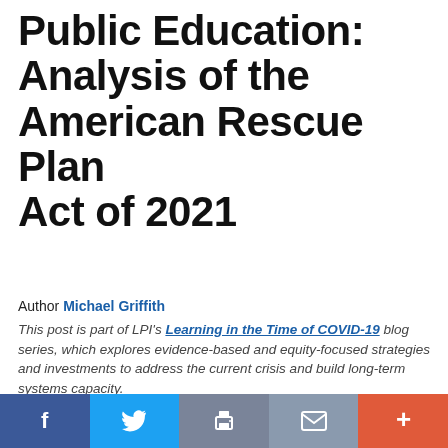Public Education: Analysis of the American Rescue Plan Act of 2021
Author Michael Griffith
This post is part of LPI's Learning in the Time of COVID-19 blog series, which explores evidence-based and equity-focused strategies and investments to address the current crisis and build long-term systems capacity.
We use cookies on this site to enhance user experience. By continuing to use this site, you are accepting our use of cookies.
[Figure (other): Social sharing bar with Facebook, Twitter, Print, Email, and More buttons]